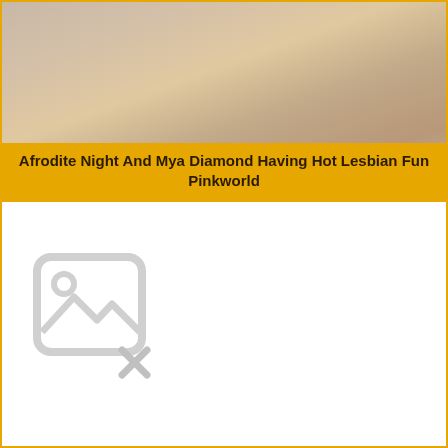[Figure (photo): Cropped photo with skin tones and dark elements in the upper portion of the page]
Afrodite Night And Mya Diamond Having Hot Lesbian Fun Pinkworld
[Figure (other): Broken image placeholder icon with an X mark]